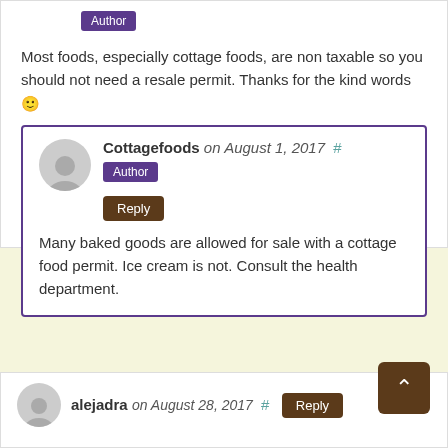Author
Most foods, especially cottage foods, are non taxable so you should not need a resale permit. Thanks for the kind words 🙂
Cottagefoods on August 1, 2017  #
Author
Reply
Many baked goods are allowed for sale with a cottage food permit. Ice cream is not. Consult the health department.
alejadra on August 28, 2017  #
Reply